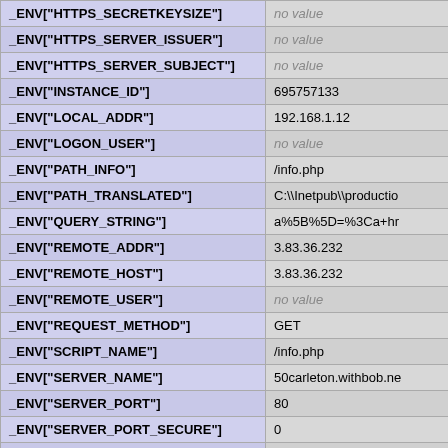| Variable | Value |
| --- | --- |
| _ENV["HTTPS_SECRETKEYSIZE"] | no value |
| _ENV["HTTPS_SERVER_ISSUER"] | no value |
| _ENV["HTTPS_SERVER_SUBJECT"] | no value |
| _ENV["INSTANCE_ID"] | 695757133 |
| _ENV["LOCAL_ADDR"] | 192.168.1.12 |
| _ENV["LOGON_USER"] | no value |
| _ENV["PATH_INFO"] | /info.php |
| _ENV["PATH_TRANSLATED"] | C:\\Inetpub\\productio |
| _ENV["QUERY_STRING"] | a%5B%5D=%3Ca+hr |
| _ENV["REMOTE_ADDR"] | 3.83.36.232 |
| _ENV["REMOTE_HOST"] | 3.83.36.232 |
| _ENV["REMOTE_USER"] | no value |
| _ENV["REQUEST_METHOD"] | GET |
| _ENV["SCRIPT_NAME"] | /info.php |
| _ENV["SERVER_NAME"] | 50carleton.withbob.ne |
| _ENV["SERVER_PORT"] | 80 |
| _ENV["SERVER_PORT_SECURE"] | 0 |
| _ENV["SERVER_PROTOCOL"] | HTTP/1.1 |
| _ENV["SERVER_SOFTWARE"] | Microsoft-IIS/6.0 |
| _ENV["UNMAPPED_REMOTE_USER"] | no value |